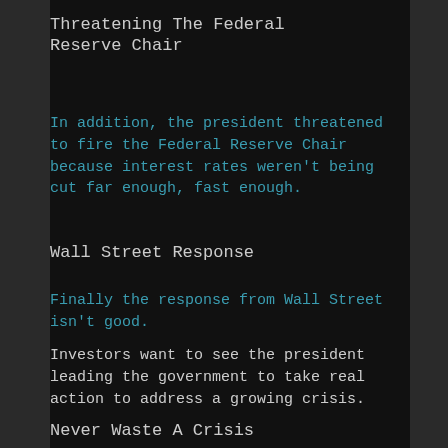Threatening The Federal Reserve Chair
In addition, the president threatened to fire the Federal Reserve Chair because interest rates weren't being cut far enough, fast enough.
Wall Street Response
Finally the response from Wall Street isn't good.
Investors want to see the president leading the government to take real action to address a growing crisis.
Never Waste A Crisis
In conclusion, it's time for questions about the future of the republican party and this president. Remember those Obama Era Memes about not wasting a